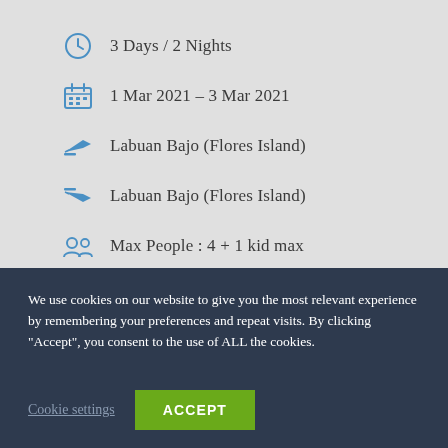3 Days / 2 Nights
1 Mar 2021 – 3 Mar 2021
Labuan Bajo (Flores Island)
Labuan Bajo (Flores Island)
Max People : 4 + 1 kid max
We use cookies on our website to give you the most relevant experience by remembering your preferences and repeat visits. By clicking "Accept", you consent to the use of ALL the cookies.
Cookie settings  ACCEPT